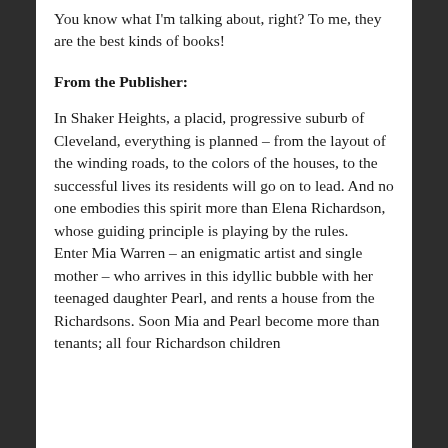You know what I'm talking about, right? To me, they are the best kinds of books!
From the Publisher:
In Shaker Heights, a placid, progressive suburb of Cleveland, everything is planned – from the layout of the winding roads, to the colors of the houses, to the successful lives its residents will go on to lead. And no one embodies this spirit more than Elena Richardson, whose guiding principle is playing by the rules.
Enter Mia Warren – an enigmatic artist and single mother – who arrives in this idyllic bubble with her teenaged daughter Pearl, and rents a house from the Richardsons. Soon Mia and Pearl become more than tenants; all four Richardson children